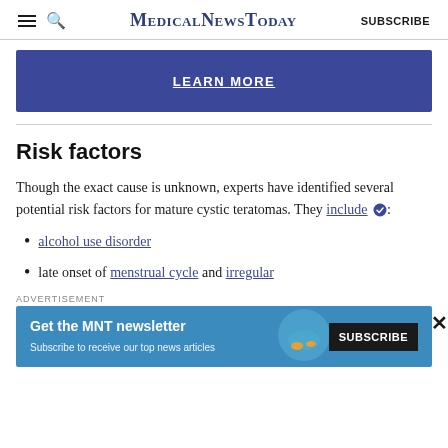MedicalNewsToday | SUBSCRIBE
[Figure (other): Blue LEARN MORE button banner]
Risk factors
Though the exact cause is unknown, experts have identified several potential risk factors for mature cystic teratomas. They include:
alcohol use disorder
late onset of menstrual cycle and irregular
ADVERTISEMENT
[Figure (other): MNT newsletter subscription advertisement banner with SUBSCRIBE button]